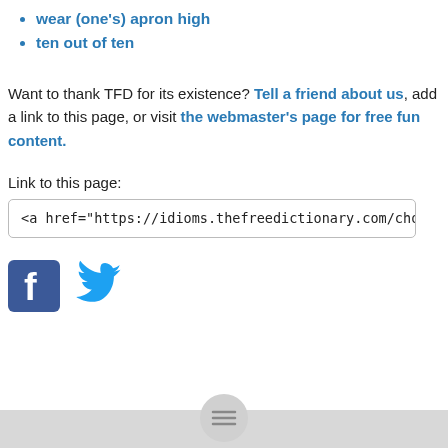wear (one's) apron high
ten out of ten
Want to thank TFD for its existence? Tell a friend about us, add a link to this page, or visit the webmaster's page for free fun content.
Link to this page:
<a href="https://idioms.thefreedictionary.com/chocolate+box">chocolate b
[Figure (logo): Facebook logo icon (blue square with white 'f') and Twitter bird logo icon (blue bird)]